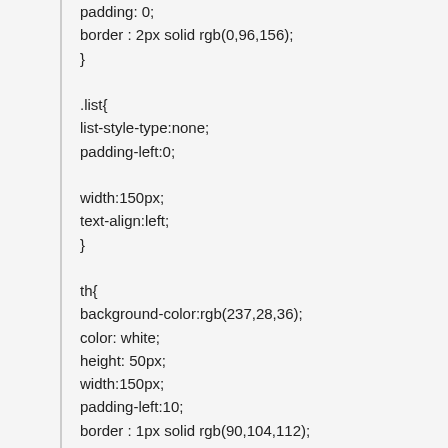padding: 0;
border : 2px solid rgb(0,96,156);
}

.list{
list-style-type:none;
padding-left:0;

width:150px;
text-align:left;
}

th{
background-color:rgb(237,28,36);
color: white;
height: 50px;
width:150px;
padding-left:10;
border : 1px solid rgb(90,104,112);
font-weight: Bold;
font-size: 16px;

}